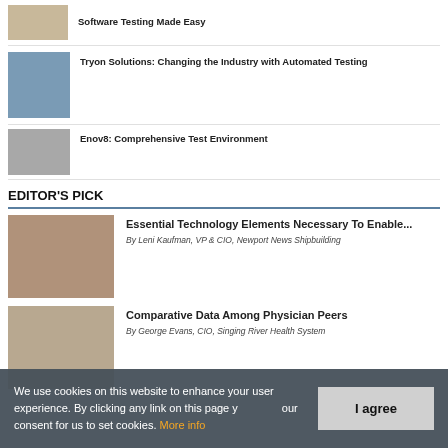Software Testing Made Easy
Tryon Solutions: Changing the Industry with Automated Testing
Enov8: Comprehensive Test Environment
EDITOR'S PICK
Essential Technology Elements Necessary To Enable... By Leni Kaufman, VP & CIO, Newport News Shipbuilding
Comparative Data Among Physician Peers By George Evans, CIO, Singing River Health System
We use cookies on this website to enhance your user experience. By clicking any link on this page you give your consent for us to set cookies. More info